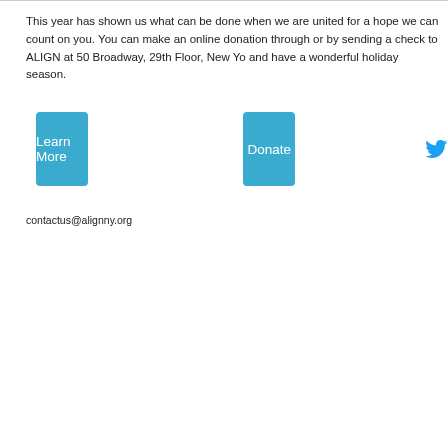This year has shown us what can be done when we are united for a hope we can count on you. You can make an online donation through or by sending a check to ALIGN at 50 Broadway, 29th Floor, New Yo and have a wonderful holiday season.
[Figure (other): Learn More button (blue rounded rectangle), Donate button (blue rounded rectangle), and Twitter bird logo icon in blue]
contactus@alignny.org